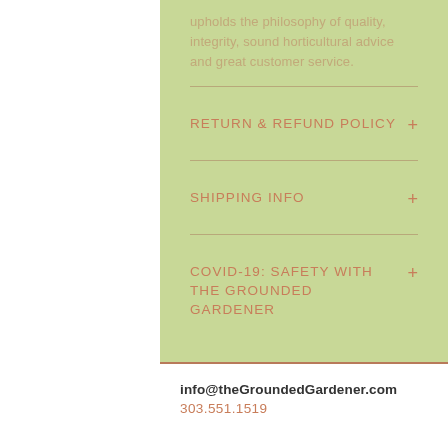upholds the philosophy of quality, integrity, sound horticultural advice and great customer service.
RETURN & REFUND POLICY
SHIPPING INFO
COVID-19: SAFETY WITH THE GROUNDED GARDENER
info@theGroundedGardener.com
303.551.1519